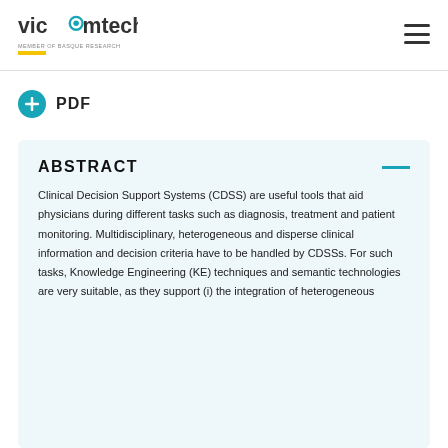[Figure (logo): Vicomtech logo with text 'MEMBER OF BASQUE RESEARCH' and a yellow underline bar]
PDF
ABSTRACT
Clinical Decision Support Systems (CDSS) are useful tools that aid physicians during different tasks such as diagnosis, treatment and patient monitoring. Multidisciplinary, heterogeneous and disperse clinical information and decision criteria have to be handled by CDSSs. For such tasks, Knowledge Engineering (KE) techniques and semantic technologies are very suitable, as they support (i) the integration of heterogeneous